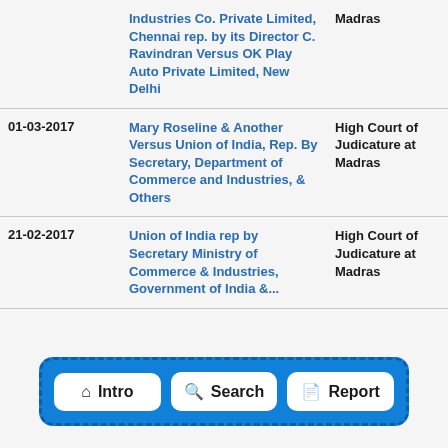| Date | Parties | Court |
| --- | --- | --- |
|  | Industries Co. Private Limited, Chennai rep. by its Director C. Ravindran Versus OK Play Auto Private Limited, New Delhi | Madras |
| 01-03-2017 | Mary Roseline & Another Versus Union of India, Rep. By Secretary, Department of Commerce and Industries, & Others | High Court of Judicature at Madras |
| 21-02-2017 | Union of India rep by Secretary Ministry of Commerce & Industries, Government of India &... | High Court of Judicature at Madras |